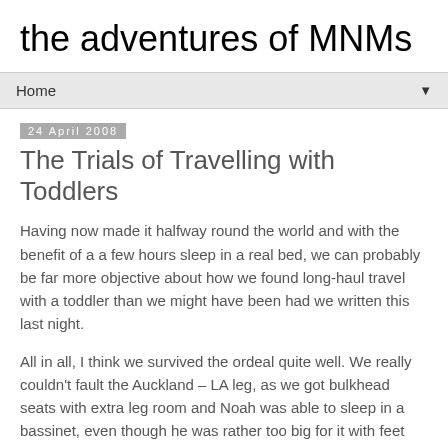the adventures of MNMs
Home
24 April 2008
The Trials of Travelling with Toddlers
Having now made it halfway round the world and with the benefit of a a few hours sleep in a real bed, we can probably be far more objective about how we found long-haul travel with a toddler than we might have been had we written this last night.
All in all, I think we survived the ordeal quite well. We really couldn't fault the Auckland – LA leg, as we got bulkhead seats with extra leg room and Noah was able to sleep in a bassinet, even though he was rather too big for it with feet sticking out over the edges, but he slept 8 hours of the 12 hour journey and we even managed about 6 hours